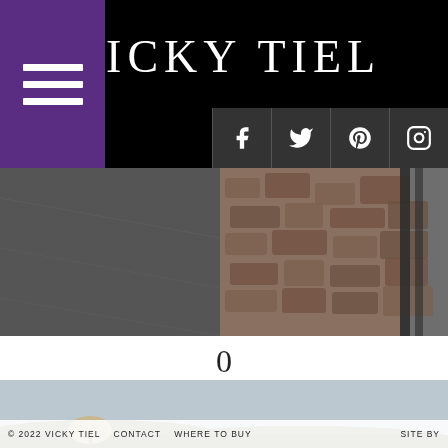VICKY TIEL
[Figure (photo): Close-up photo of a stone wall and road/asphalt surface]
0
[Figure (photo): Outdoor landscape photo with overcast sky, distant hills, and a figure with an umbrella in the lower portion]
© 2022 VICKY TIEL   CONTACT   WHERE TO BUY   SITE BY